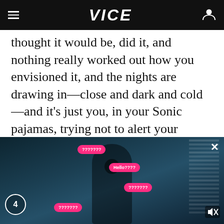VICE
thought it would be, did it, and nothing really worked out how you envisioned it, and the nights are drawing in—close and dark and cold—and it's just you, in your Sonic pajamas, trying not to alert your housemates to the fact that you're trying to escape the doom with a cheeky shed-wank, trying not to move the mattress around too much as you try to manipulate your
[Figure (screenshot): Dark screenshot of a video player showing a person in a dim room with bookshelves, overlaid with pink chat bubbles saying '???????' and 'Hello????' and '???????', with a number badge '4', close X button, and mute icon.]